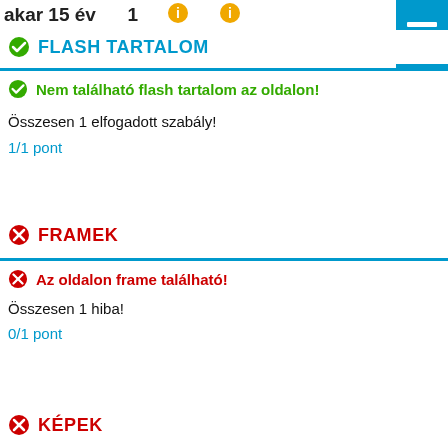akar 15 év    1
FLASH TARTALOM
Nem található flash tartalom az oldalon!
Összesen 1 elfogadott szabály!
1/1 pont
FRAMEK
Az oldalon frame található!
Összesen 1 hiba!
0/1 pont
KÉPEK